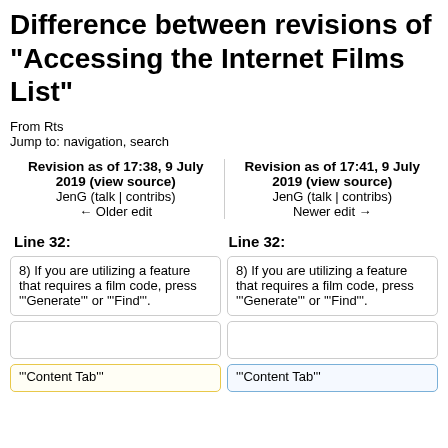Difference between revisions of "Accessing the Internet Films List"
From Rts
Jump to: navigation, search
| Revision as of 17:38, 9 July 2019 (view source) | Revision as of 17:41, 9 July 2019 (view source) |
| --- | --- |
| JenG (talk | contribs) | JenG (talk | contribs) |
| ← Older edit | Newer edit → |
Line 32:
Line 32:
8) If you are utilizing a feature that requires a film code, press "'Generate'" or "'Find'".
8) If you are utilizing a feature that requires a film code, press "'Generate'" or "'Find'".
"'Content Tab"'
"'Content Tab"'